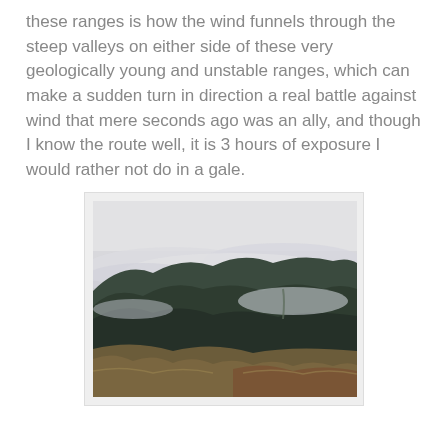these ranges is how the wind funnels through the steep valleys on either side of these very geologically young and unstable ranges, which can make a sudden turn in direction a real battle against wind that mere seconds ago was an ally, and though I know the route well, it is 3 hours of exposure I would rather not do in a gale.
[Figure (photo): Mountain landscape with low clouds and mist hanging over dark forested ridgelines. The foreground shows tussock grass on a hillside, and the background shows layered mountain ranges disappearing into overcast sky.]